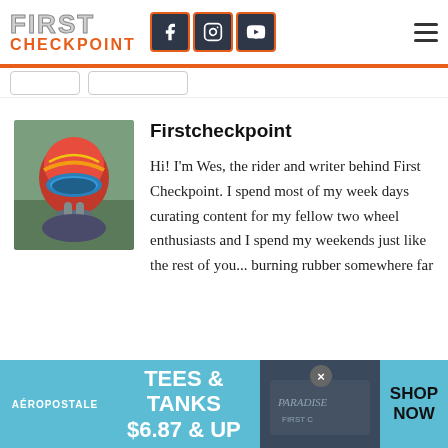FIRST CHECKPOINT
[Figure (logo): First Checkpoint logo with FIRST in gray block letters and CHECKPOINT in orange below, alongside Facebook, Instagram, and YouTube social media icons in dark square buttons with orange borders, and a hamburger menu icon on the right]
Firstcheckpoint
Hi! I'm Wes, the rider and writer behind First Checkpoint. I spend most of my week days curating content for my fellow two wheel enthusiasts and I spend my weekends just like the rest of you... burning rubber somewhere far
[Figure (photo): Person wearing a full-face motocross helmet with colorful design, appearing to be outdoors]
[Figure (infographic): Aeropostale advertisement banner: TEES & TANKS $6.87 & UP with SHOP NOW call to action on blue background]